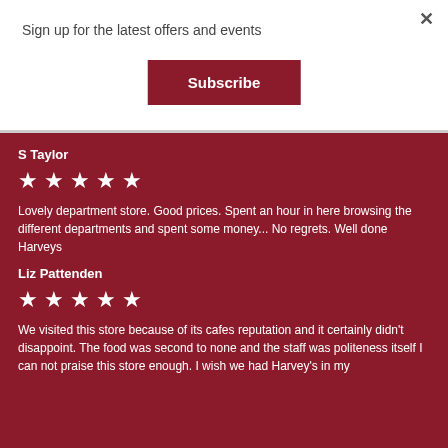Sign up for the latest offers and events
×
Subscribe
S Taylor
[Figure (other): 5 white stars rating on dark red background]
Lovely department store. Good prices. Spent an hour in here browsing the different departments and spent some money... No regrets. Well done Harveys
Liz Pattenden
[Figure (other): 5 white stars rating on dark red background]
We visited this store because of its cafes reputation and it certainly didn't disappoint. The food was second to none and the staff was politeness itself I can not praise this store enough. I wish we had Harvey's in my